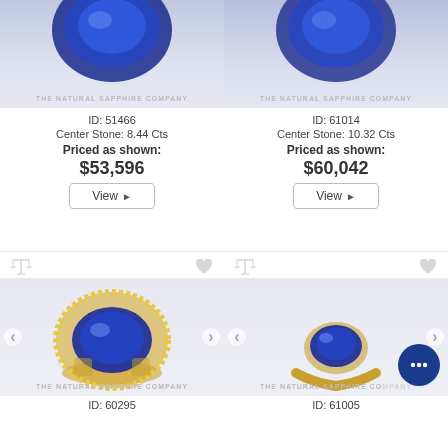[Figure (photo): Top cropped view of a blue sapphire ring with 'THE NATURAL SAPPHIRE COMPANY' watermark, left product card]
ID: 51466
Center Stone: 8.44 Cts
Priced as shown:
$53,596
[Figure (illustration): View button with arrow for product ID 51466]
[Figure (photo): Top cropped view of a blue sapphire ring with 'THE NATURAL SAPPHIRE COMPANY' watermark, right product card]
ID: 61014
Center Stone: 10.32 Cts
Priced as shown:
$60,042
[Figure (illustration): View button with arrow for product ID 61014]
[Figure (photo): Blue sapphire oval halo diamond ring in yellow gold setting, ID 60295, THE NATURAL SAPPHIRE COMPANY watermark]
ID: 60295
[Figure (photo): Blue sapphire oval solitaire ring in yellow gold setting, ID 61005, THE NATURAL SAPPHIRE COMPANY watermark, with chat bubble icon]
ID: 61005